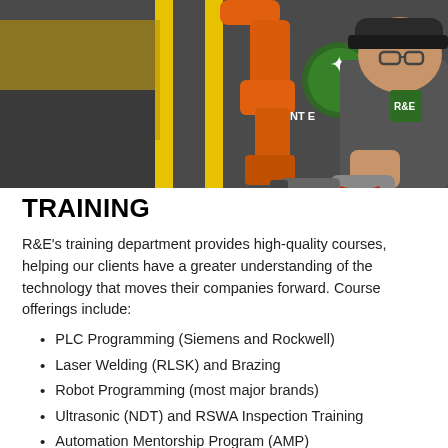[Figure (photo): A technician wearing glasses and a cap leans over industrial equipment including an orange robotic arm and uses a handheld tool, in a manufacturing/training lab setting with yellow safety guards and green signage in the background.]
TRAINING
R&E's training department provides high-quality courses, helping our clients have a greater understanding of the technology that moves their companies forward. Course offerings include:
PLC Programming (Siemens and Rockwell)
Laser Welding (RLSK) and Brazing
Robot Programming (most major brands)
Ultrasonic (NDT) and RSWA Inspection Training
Automation Mentorship Program (AMP)
Class delivery in our lab or your facility
Technical writers on staff